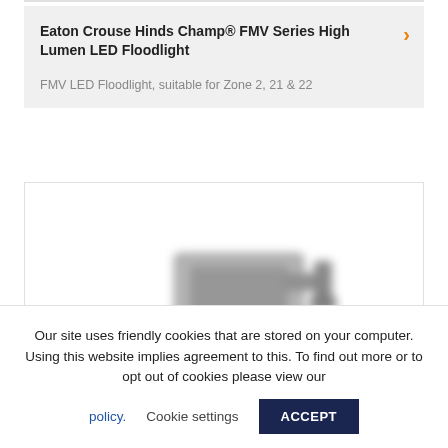Eaton Crouse Hinds Champ® FMV Series High Lumen LED Floodlight
FMV LED Floodlight, suitable for Zone 2, 21 & 22
[Figure (photo): Blurred/low-resolution photo of an industrial LED floodlight fixture (Eaton Crouse Hinds Champ FMV series), showing a boxy grey metal housing with mounting bracket.]
Our site uses friendly cookies that are stored on your computer. Using this website implies agreement to this. To find out more or to opt out of cookies please view our policy. Cookie settings ACCEPT